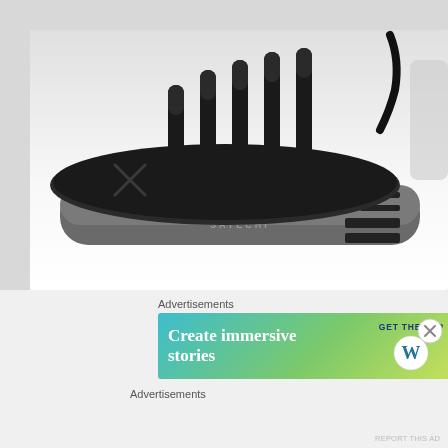[Figure (photo): A Satechi multi-device charging station with black rubberized top, multiple vertical divider slots for holding devices upright, USB-A and USB-C ports on the side, wireless charging pad marked with an X symbol on the left side, sitting on a white surface with a cable visible at the back right.]
Advertisements
[Figure (screenshot): Advertisement banner with gradient background (teal to green-yellow) showing WordPress app promotion. Text reads: 'Create immersive stories' on the left, 'GET THE APP' with WordPress logo on the right. A close/dismiss button (circled X) appears to the right of the banner.]
Advertisements